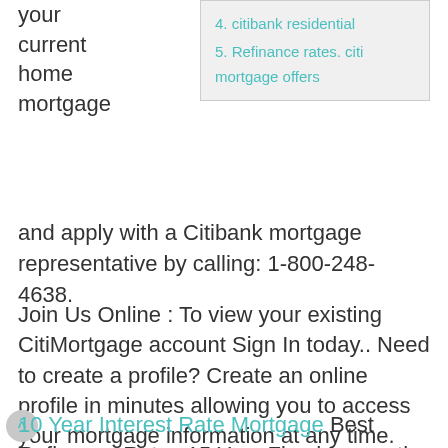your current home mortgage
4. citibank residential
5. Refinance rates. citi mortgage offers
and apply with a Citibank mortgage representative by calling: 1-800-248-4638.
Join Us Online : To view your existing CitiMortgage account Sign In today.. Need to create a profile? Create an online profile in minutes allowing you to access your mortgage information at any time. Enroll now! Reset your password Whether you want to ask a question or find the latest news and information, the Citi blog may be exactly what you are looking for.
10 Year Interest Rate Mortgage Best Refinance Rates 15 Year Fixed Is now the right time to refinance? – Let's say you have a 30-year fixed-rate home loan that's